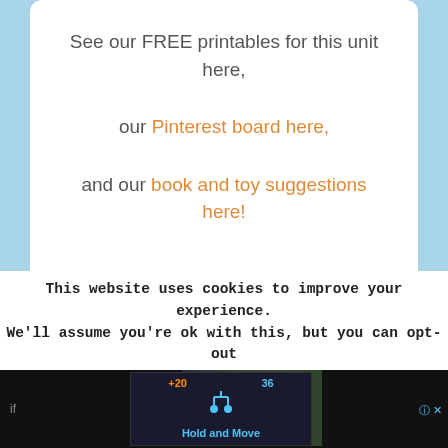See our FREE printables for this unit here, our Pinterest board here, and our book and toy suggestions here!
[Figure (other): Goose Kindergarten Literature Unit banner with a photo of a goose on the left and bold text on yellow background on the right]
This website uses cookies to improve your experience. We'll assume you're ok with this, but you can opt-out if
[Figure (screenshot): Mobile game advertisement showing 'Hold and Move' with score display (+20, 36) and player icon on dark background with outdoor photo]